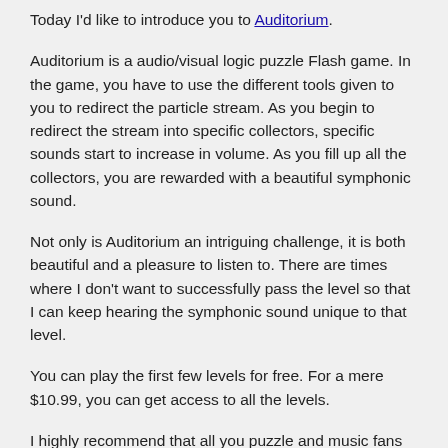Today I'd like to introduce you to Auditorium.
Auditorium is a audio/visual logic puzzle Flash game. In the game, you have to use the different tools given to you to redirect the particle stream. As you begin to redirect the stream into specific collectors, specific sounds start to increase in volume. As you fill up all the collectors, you are rewarded with a beautiful symphonic sound.
Not only is Auditorium an intriguing challenge, it is both beautiful and a pleasure to listen to. There are times where I don't want to successfully pass the level so that I can keep hearing the symphonic sound unique to that level.
You can play the first few levels for free. For a mere $10.99, you can get access to all the levels.
I highly recommend that all you puzzle and music fans try Auditorium out. I can't be held responsible for addiction.